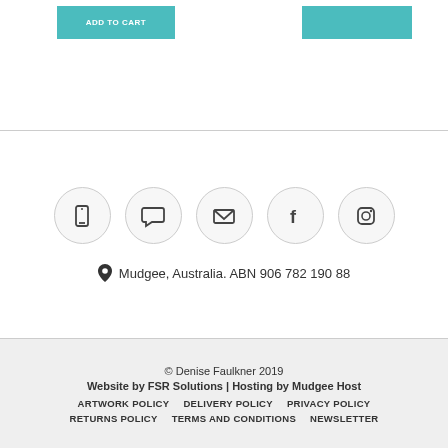ADD TO CART
[Figure (infographic): Five social/contact icon circles: phone, chat bubble, envelope, Facebook, Instagram]
Mudgee, Australia. ABN 906 782 190 88
© Denise Faulkner 2019
Website by FSR Solutions | Hosting by Mudgee Host
ARTWORK POLICY   DELIVERY POLICY   PRIVACY POLICY
RETURNS POLICY   TERMS AND CONDITIONS   NEWSLETTER